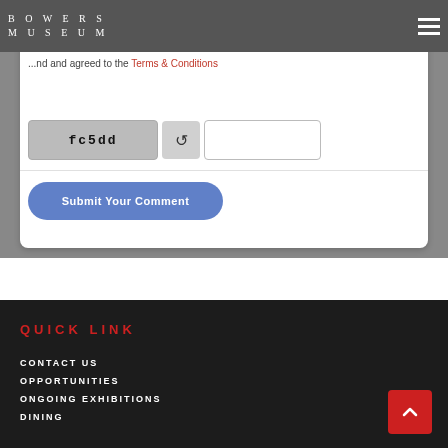[Figure (screenshot): Bowers Museum website navigation bar with logo and hamburger menu]
Website
...nd and agreed to the Terms & Conditions
[Figure (screenshot): CAPTCHA widget showing code 'fc5dd' with refresh button and text input]
Submit Your Comment
QUICK LINK
CONTACT US
OPPORTUNITIES
ONGOING EXHIBITIONS
DINING